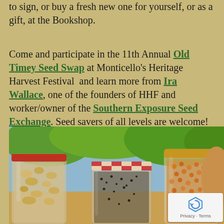to sign, or buy a fresh new one for yourself, or as a gift, at the Bookshop.
Come and participate in the 11th Annual Old Timey Seed Swap at Monticello's Heritage Harvest Festival and learn more from Ira Wallace, one of the founders of HHF and worker/owner of the Southern Exposure Seed Exchange. Seed savers of all levels are welcome! #HHF2017.
[Figure (photo): Photo of multiple glass mason jars filled with various seeds (grains, small dark seeds, orange/red lentils) on a table outdoors with green foliage in the background. Jars have red, checkered, and gold lids.]